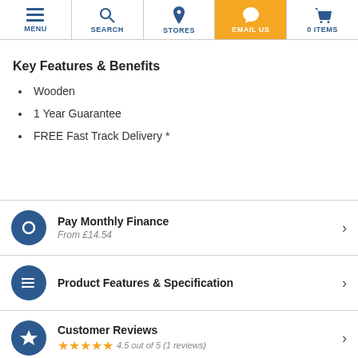MENU | SEARCH | STORES | EMAIL US | 0 ITEMS
Key Features & Benefits
Wooden
1 Year Guarantee
FREE Fast Track Delivery *
Pay Monthly Finance
From £14.54
Product Features & Specification
Customer Reviews
4.5 out of 5 (1 reviews)